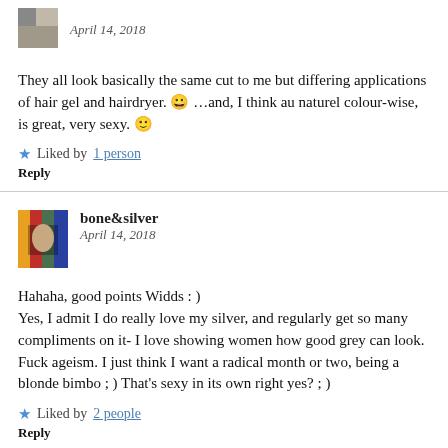April 14, 2018
They all look basically the same cut to me but differing applications of hair gel and hairdryer. 😀 …and, I think au naturel colour-wise, is great, very sexy. 🙂
Liked by 1 person
Reply
bone&silver
April 14, 2018
Hahaha, good points Widds : )
Yes, I admit I do really love my silver, and regularly get so many compliments on it- I love showing women how good grey can look. Fuck ageism. I just think I want a radical month or two, being a blonde bimbo ; ) That's sexy in its own right yes? ; )
Liked by 2 people
Reply